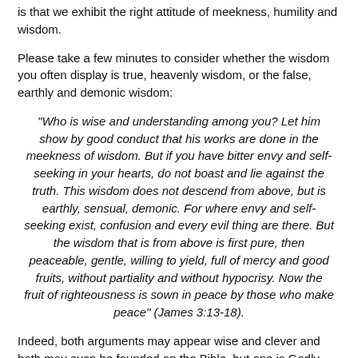is that we exhibit the right attitude of meekness, humility and wisdom.
Please take a few minutes to consider whether the wisdom you often display is true, heavenly wisdom, or the false, earthly and demonic wisdom:
"Who is wise and understanding among you? Let him show by good conduct that his works are done in the meekness of wisdom. But if you have bitter envy and self-seeking in your hearts, do not boast and lie against the truth. This wisdom does not descend from above, but is earthly, sensual, demonic. For where envy and self-seeking exist, confusion and every evil thing are there. But the wisdom that is from above is first pure, then peaceable, gentle, willing to yield, full of mercy and good fruits, without partiality and without hypocrisy. Now the fruit of righteousness is sown in peace by those who make peace" (James 3:13-18).
Indeed, both arguments may appear wise and clever and both may even be founded on the Bible, but one is Godly and one is demonic.